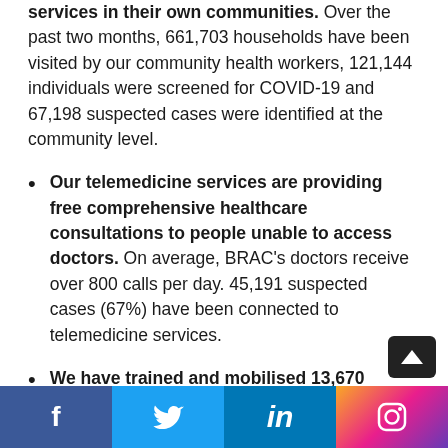services in their own communities. Over the past two months, 661,703 households have been visited by our community health workers, 121,144 individuals were screened for COVID-19 and 67,198 suspected cases were identified at the community level.
Our telemedicine services are providing free comprehensive healthcare consultations to people unable to access doctors. On average, BRAC's doctors receive over 800 calls per day. 45,191 suspected cases (67%) have been connected to telemedicine services.
We have trained and mobilised 13,670 community leaders to reinforce mask-wearing habits in their respective communities. More than...
Social media links: Facebook, Twitter, LinkedIn, Instagram